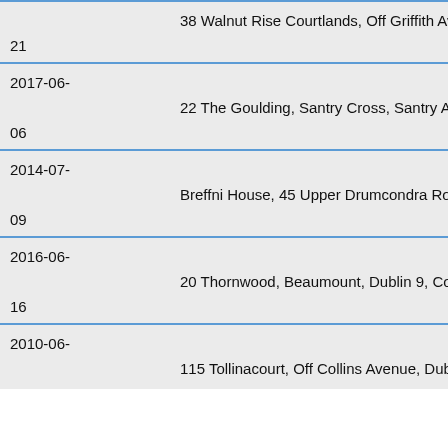| 38 Walnut Rise Courtlands, Off Griffith Avenue, Dublin 9, Co. D… | 21 |
| 2017-06- | 22 The Goulding, Santry Cross, Santry Aveiue, Dublin 9, Co. Du… | 06 |
| 2014-07- | Breffni House, 45 Upper Drumcondra Road, Dublin 9, Co. Dubl… | 09 |
| 2016-06- | 20 Thornwood, Beaumount, Dublin 9, Co. Dublin, Ireland | 16 |
| 2010-06- | 115 Tollinacourt, Off Collins Avenue, Dublin 9, Co. Dublin… |  |